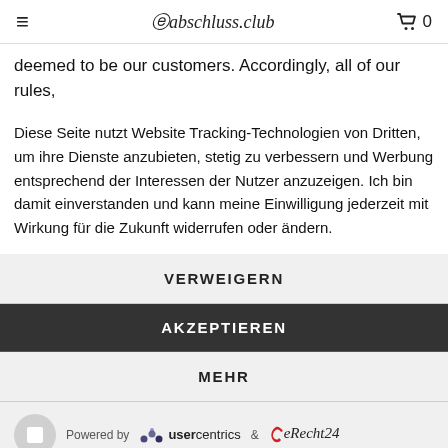abschluss.club  0
deemed to be our customers. Accordingly, all of our rules,
Diese Seite nutzt Website Tracking-Technologien von Dritten, um ihre Dienste anzubieten, stetig zu verbessern und Werbung entsprechend der Interessen der Nutzer anzuzeigen. Ich bin damit einverstanden und kann meine Einwilligung jederzeit mit Wirkung für die Zukunft widerrufen oder ändern.
VERWEIGERN
AKZEPTIEREN
MEHR
Powered by usercentrics & eRecht24